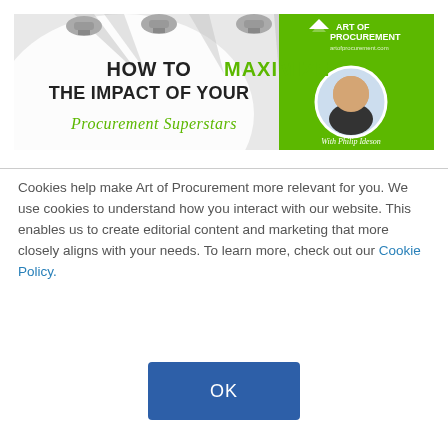[Figure (illustration): Art of Procurement podcast banner: 'HOW TO MAXIMIZE THE IMPACT OF YOUR Procurement Superstars' with spotlights on left, green panel on right with Art of Procurement logo, circular headshot of Philip Ideson, and text 'With Philip Ideson']
Cookies help make Art of Procurement more relevant for you. We use cookies to understand how you interact with our website. This enables us to create editorial content and marketing that more closely aligns with your needs. To learn more, check out our Cookie Policy.
OK